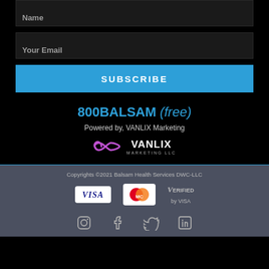Name
Your Email
SUBSCRIBE
800BALSAM (free)
Powered by, VANLIX Marketing
[Figure (logo): VANLIX MARKETING LLC logo with infinity/loop symbol in pink and blue]
Copyrights ©2021 Balsam Health Services DWC-LLC
[Figure (other): VISA payment badge]
[Figure (other): MasterCard payment badge]
[Figure (other): Verified by VISA badge]
[Figure (other): Social media icons: Instagram, Facebook, Twitter, LinkedIn]